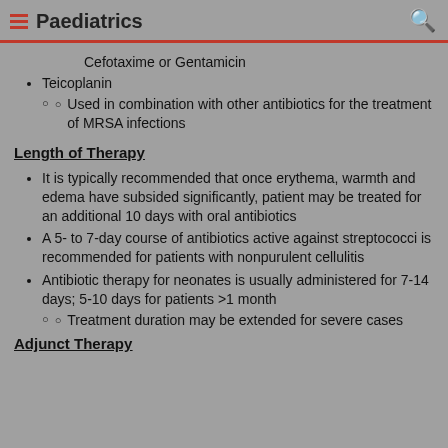Paediatrics
Cefotaxime or Gentamicin
Teicoplanin
Used in combination with other antibiotics for the treatment of MRSA infections
Length of Therapy
It is typically recommended that once erythema, warmth and edema have subsided significantly, patient may be treated for an additional 10 days with oral antibiotics
A 5- to 7-day course of antibiotics active against streptococci is recommended for patients with nonpurulent cellulitis
Antibiotic therapy for neonates is usually administered for 7-14 days; 5-10 days for patients >1 month
Treatment duration may be extended for severe cases
Adjunct Therapy